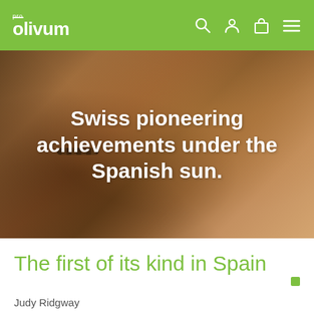pro olivum
[Figure (photo): Close-up photo of a hand/wrist wearing a beaded bracelet in warm brown tones with sun and shadow, overlaid with white text reading 'Swiss pioneering achievements under the Spanish sun.']
Swiss pioneering achievements under the Spanish sun.
The first of its kind in Spain
Judy Ridgway